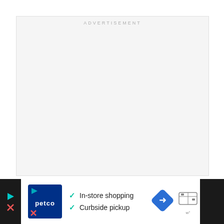[Figure (other): Advertisement placeholder box — large light grey rectangle with 'ADVERTISEMENT' label at top center]
[Figure (other): Petco advertisement banner: Petco logo on dark blue background, checkmarks next to 'In-store shopping' and 'Curbside pickup', blue diamond turn-arrow map icon, and Waze-style icon on right]